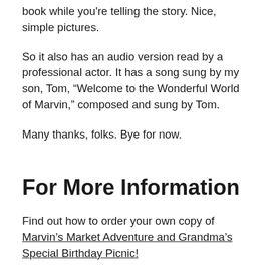book while you're telling the story. Nice, simple pictures.
So it also has an audio version read by a professional actor. It has a song sung by my son, Tom, “Welcome to the Wonderful World of Marvin,” composed and sung by Tom.
Many thanks, folks. Bye for now.
For More Information
Find out how to order your own copy of Marvin’s Market Adventure and Grandma’s Special Birthday Picnic!